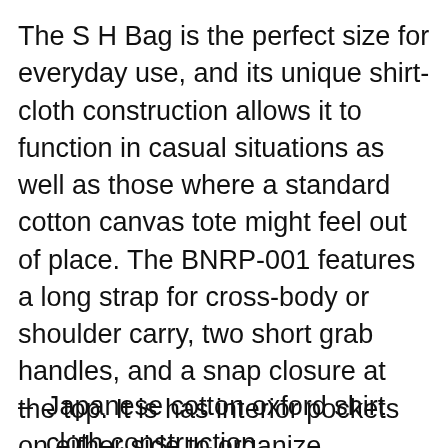The S H Bag is the perfect size for everyday use, and its unique shirt-cloth construction allows it to function in casual situations as well as those where a standard cotton canvas tote might feel out of place. The BNRP-001 features a long strap for cross-body or shoulder carry, two short grab handles, and a snap closure at the top. It is has interior pockets on either side to organize valuables, a cleanly integrated YKK side zipper for easy access while worn, and is finished with the S H branded logo tag on the shoulder strap's interior, and the classic small on-seam white woven tab near the base.
Japanese cotton oxford shirt cloth construction